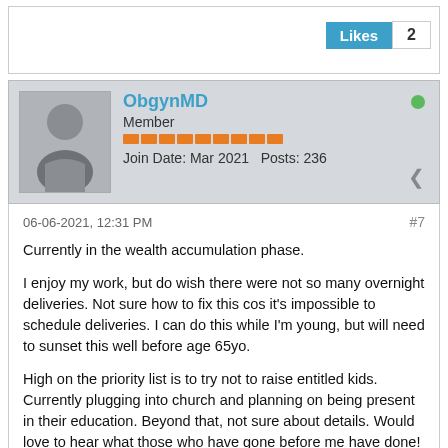[Figure (other): Likes button showing count of 2]
[Figure (other): User profile card for ObgynMD, Member, joined Mar 2021, 236 posts, online indicator (green dot), share icon]
06-06-2021, 12:31 PM
#7
Currently in the wealth accumulation phase.

I enjoy my work, but do wish there were not so many overnight deliveries. Not sure how to fix this cos it's impossible to schedule deliveries. I can do this while I'm young, but will need to sunset this well before age 65yo.

High on the priority list is to try not to raise entitled kids. Currently plugging into church and planning on being present in their education. Beyond that, not sure about details. Would love to hear what those who have gone before me have done!

And part of my ideal life includes not being so friggin addicted to my phone. Ugggh. Not hooked in smoking or alcohol, but